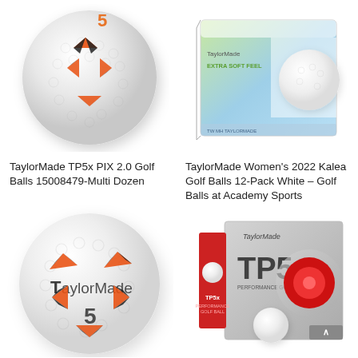[Figure (photo): TaylorMade TP5x PIX 2.0 golf ball showing geometric orange and black triangular pattern and number 5, top-left quadrant]
[Figure (photo): TaylorMade Women's 2022 Kalea Golf Balls 12-pack product box in green and blue gradient packaging with golf ball image, top-right quadrant]
TaylorMade TP5x PIX 2.0 Golf Balls 15008479-Multi Dozen
TaylorMade Women's 2022 Kalea Golf Balls 12-Pack White – Golf Balls at Academy Sports
[Figure (photo): Large TaylorMade TP5x golf ball with TaylorMade logo, number 5, and orange/black triangular PIX pattern, bottom-left quadrant]
[Figure (photo): TaylorMade TP5x golf ball box product shot showing red card insert, grey box with TP5x branding and red core cross-section, bottom-right quadrant]